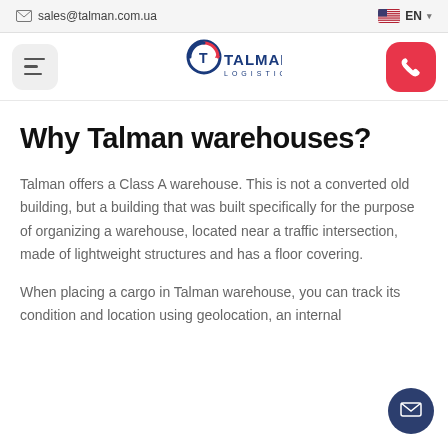sales@talman.com.ua  EN
[Figure (logo): Talman Logistics logo with hamburger menu button and phone call button]
Why Talman warehouses?
Talman offers a Class A warehouse. This is not a converted old building, but a building that was built specifically for the purpose of organizing a warehouse, located near a traffic intersection, made of lightweight structures and has a floor covering.
When placing a cargo in Talman warehouse, you can track its condition and location using geolocation, an internal